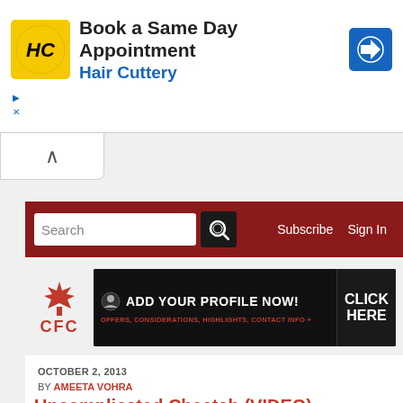[Figure (screenshot): Hair Cuttery advertisement banner: yellow logo with HC initials, text 'Book a Same Day Appointment' and 'Hair Cuttery' in blue, blue arrow icon on right. Small ad indicator icons bottom-left.]
[Figure (screenshot): Collapse/chevron up button below the ad banner]
[Figure (screenshot): Red navigation bar with Search input box, magnifying glass button, Subscribe and Sign In links]
[Figure (screenshot): CFC (Canadian Football Club) site header with maple leaf logo in red, and black promotional banner 'ADD YOUR PROFILE NOW! CLICK HERE' with offers text]
[Figure (screenshot): Dark navigation bar with hamburger menu icon on left and Facebook, Twitter, Instagram social media icons on right]
OCTOBER 2, 2013
BY AMEETA VOHRA
Uncomplicated Cheetah (VIDEO)